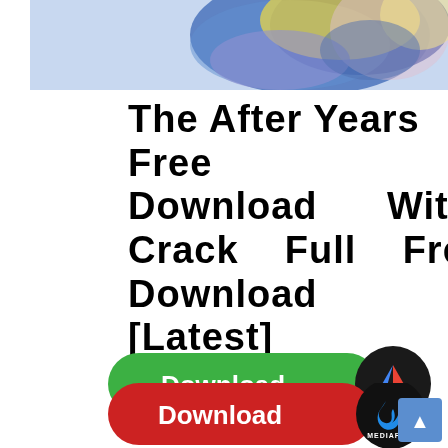[Figure (illustration): Colorful anime/manga style illustration with blue, yellow, and purple characters at the top of the page]
The After Years Free Download With Crack Full Free Download [Latest]
[Figure (other): Green Download button with Google Drive logo icon]
[Figure (other): Red Download button with MediaFire logo icon]
[Figure (other): Blue scroll-to-top button with upward arrow in bottom right corner]